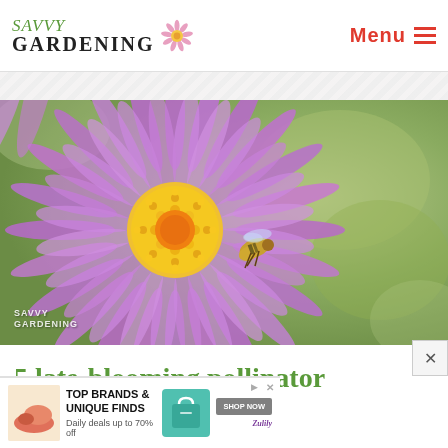SAVVY GARDENING — Menu
[Figure (photo): Close-up photo of a purple aster flower with a yellow center, with a bee or hoverfly visiting the center. The Savvy Gardening watermark appears at the bottom left. Background is blurred green foliage.]
5 late-blooming pollinator frie...
[Figure (screenshot): Advertisement banner: TOP BRANDS & UNIQUE FINDS, Daily deals up to 70% off. Shows product images and a SHOP NOW button. Zulily branding at bottom right.]